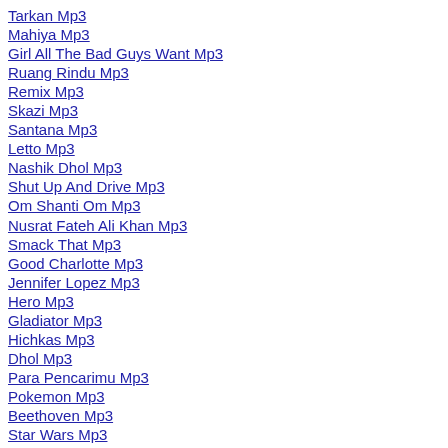Tarkan Mp3
Mahiya Mp3
Girl All The Bad Guys Want Mp3
Ruang Rindu Mp3
Remix Mp3
Skazi Mp3
Santana Mp3
Letto Mp3
Nashik Dhol Mp3
Shut Up And Drive Mp3
Om Shanti Om Mp3
Nusrat Fateh Ali Khan Mp3
Smack That Mp3
Good Charlotte Mp3
Jennifer Lopez Mp3
Hero Mp3
Gladiator Mp3
Hichkas Mp3
Dhol Mp3
Para Pencarimu Mp3
Pokemon Mp3
Beethoven Mp3
Star Wars Mp3
Nasik Dhol Mp3
Mungaru Male Mp3